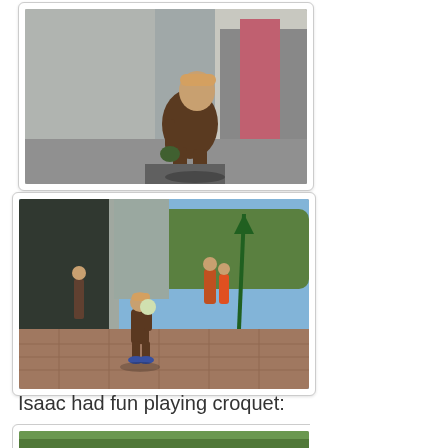[Figure (photo): A toddler in a brown outfit crouching near a doorstep outside a grey house, looking at something on the ground.]
[Figure (photo): A toddler standing on a brick patio holding what appears to be a green croquet mallet, with adults and a garage in the background.]
Isaac had fun playing croquet:
[Figure (photo): Partially visible photo at the bottom of the page showing a green outdoor scene.]